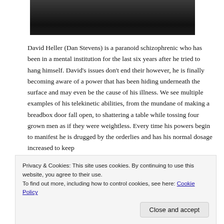[Figure (photo): Black and white photo of a man (Dan Stevens) partially visible, dark dramatic lighting]
David Heller (Dan Stevens) is a paranoid schizophrenic who has been in a mental institution for the last six years after he tried to hang himself. David's issues don't end their however, he is finally becoming aware of a power that has been hiding underneath the surface and may even be the cause of his illness. We see multiple examples of his telekinetic abilities, from the mundane of making a breadbox door fall open, to shattering a table while tossing four grown men as if they were weightless. Every time his powers begin to manifest he is drugged by the orderlies and has his normal dosage increased to keep
Privacy & Cookies: This site uses cookies. By continuing to use this website, you agree to their use.
To find out more, including how to control cookies, see here: Cookie Policy
be unreliable, uncontrollable and capable of destroying